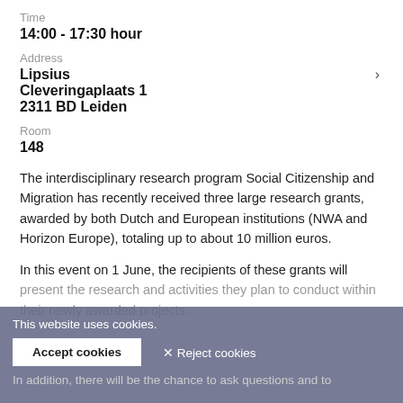Time
14:00 - 17:30 hour
Address
Lipsius
Cleveringaplaats 1
2311 BD Leiden
Room
148
The interdisciplinary research program Social Citizenship and Migration has recently received three large research grants, awarded by both Dutch and European institutions (NWA and Horizon Europe), totaling up to about 10 million euros.
In this event on 1 June, the recipients of these grants will present the research and activities they plan to conduct within their newly awarded projects.
In addition, there will be the chance to ask questions and to
This website uses cookies.
Accept cookies
✕ Reject cookies